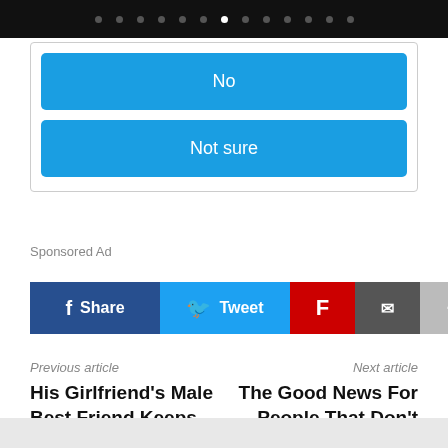[Figure (screenshot): Top navigation bar with dot indicators, one white active dot among gray dots on black background]
[Figure (screenshot): Quiz answer buttons: 'No' and 'Not sure' as blue rounded rectangles inside a bordered box]
Sponsored Ad
[Figure (screenshot): Social sharing buttons: Facebook Share, Twitter Tweet, Flipboard, Email, More (+)]
Previous article
Next article
His Girlfriend’s Male Best Friend Keeps Confessing His Love For Her & It’s Making Him Angry
The Good News For People That Don’t Like Themselves: Self-Esteem is Mostly Arbitrary